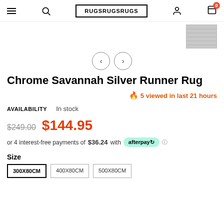RUGSRUGSRUGS
[Figure (photo): Thumbnail image of a grey/silver rug texture]
Chrome Savannah Silver Runner Rug
🔥 5 viewed in last 21 hours
AVAILABILITY  In stock
$249.00  $144.95
or 4 interest-free payments of $36.24 with afterpay ℹ
Size
300X80CM
400X80CM
500X80CM